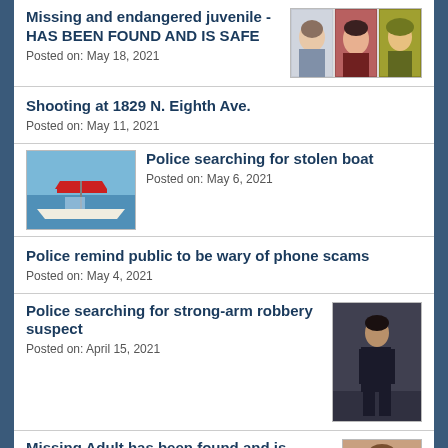Missing and endangered juvenile -HAS BEEN FOUND AND IS SAFE
Posted on: May 18, 2021
Shooting at 1829 N. Eighth Ave.
Posted on: May 11, 2021
[Figure (photo): Photo of a boat on water with red canopy]
Police searching for stolen boat
Posted on: May 6, 2021
Police remind public to be wary of phone scams
Posted on: May 4, 2021
Police searching for strong-arm robbery suspect
Posted on: April 15, 2021
[Figure (photo): Photo of robbery suspect]
Missing Adult has been found and is
[Figure (photo): Photo of missing adult]